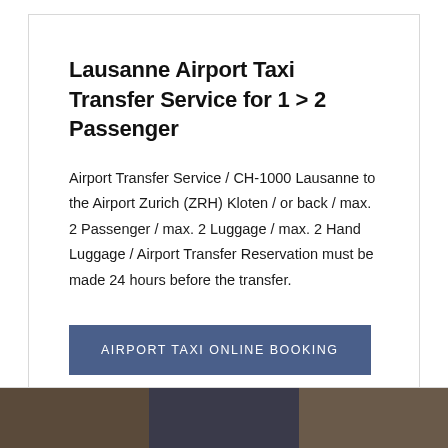Lausanne Airport Taxi Transfer Service for 1 > 2 Passenger
Airport Transfer Service / CH-1000 Lausanne to the Airport Zurich (ZRH) Kloten / or back / max. 2 Passenger / max. 2 Luggage / max. 2 Hand Luggage / Airport Transfer Reservation must be made 24 hours before the transfer.
AIRPORT TAXI ONLINE BOOKING
[Figure (photo): Bottom strip showing partial photos of taxis or airport scenes]